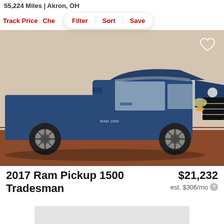55,224 Miles | Akron, OH
Track Price   Che   Filter   Sort   Save
[Figure (photo): Blue 2017 Ram Pickup 1500 Tradesman truck photographed in an indoor showroom with brown floor. The truck is a regular cab, blue in color, facing slightly right. A white heart icon is visible in the upper right corner of the image.]
2017 Ram Pickup 1500 Tradesman
$21,232
est. $306/mo